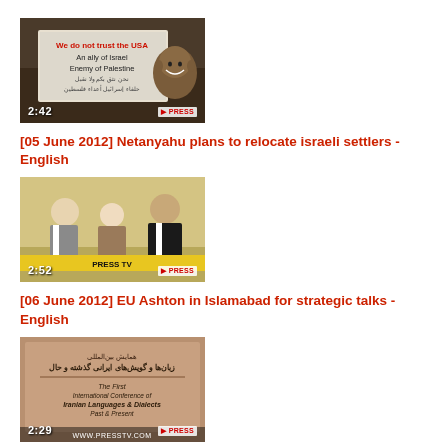[Figure (screenshot): Video thumbnail showing a protest sign reading 'We do not trust the USA, An ally of Israel, Enemy of Palestine' with a caricature of Obama. Duration: 2:42. Press TV watermark visible.]
[05 June 2012] Netanyahu plans to relocate israeli settlers - English
[Figure (screenshot): Video thumbnail showing people in formal attire at what appears to be a diplomatic meeting. Duration: 2:52. Press TV watermark visible.]
[06 June 2012] EU Ashton in Islamabad for strategic talks - English
[Figure (screenshot): Video thumbnail showing a conference banner in Persian and English reading 'The First International Conference of Iranian Languages & Dialects Past & Present'. Duration: 2:29. WWW.PRESSTV.COM watermark visible.]
[07 June 2012] Intl. Iranian Languages & Dialects Conference kicks off in Tehran - English